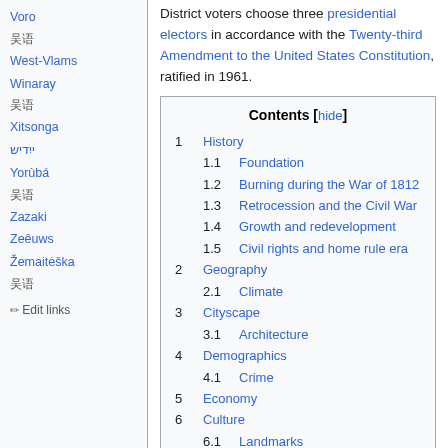Voro
吴语
West-Vlams
Winaray
吴语
Xitsonga
ייִדיש
Yorùbá
吴语
Zazaki
Zeêuws
Žemaitėška
吴语
✎ Edit links
District voters choose three presidential electors in accordance with the Twenty-third Amendment to the United States Constitution, ratified in 1961.
| Contents [hide] |
| --- |
| 1  History |
| 1.1  Foundation |
| 1.2  Burning during the War of 1812 |
| 1.3  Retrocession and the Civil War |
| 1.4  Growth and redevelopment |
| 1.5  Civil rights and home rule era |
| 2  Geography |
| 2.1  Climate |
| 3  Cityscape |
| 3.1  Architecture |
| 4  Demographics |
| 4.1  Crime |
| 5  Economy |
| 6  Culture |
| 6.1  Landmarks |